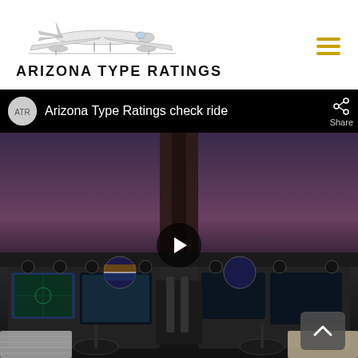[Figure (logo): Arizona Type Ratings logo with airplane illustration and brand name text]
[Figure (screenshot): YouTube embedded video player showing 'Arizona Type Ratings check ride' with cockpit interior thumbnail, play button overlay, share icon, and scroll-up button]